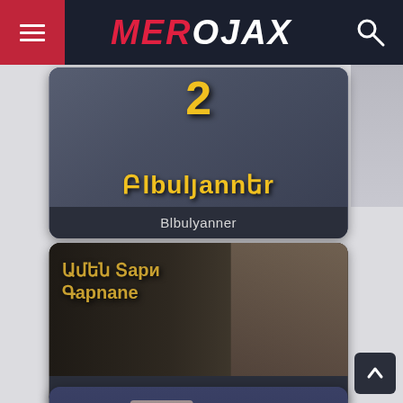MEROJAX
[Figure (screenshot): Blbulyanner movie/show card with Armenian script title and number 2, yellow text on dark background]
Blbulyanner
[Figure (screenshot): Amen Tari Garnane show card with Armenian script title overlay on a scene with a girl]
Amen Tari Garnane
[Figure (screenshot): Srtin Hakarak show card showing four actors faces with Armenian text overlay and MEROJAX watermark]
Srtin Hakarak